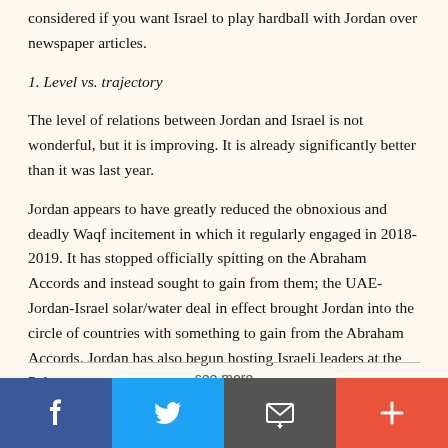considered if you want Israel to play hardball with Jordan over newspaper articles.
1. Level vs. trajectory
The level of relations between Jordan and Israel is not wonderful, but it is improving. It is already significantly better than it was last year.
Jordan appears to have greatly reduced the obnoxious and deadly Waqf incitement in which it regularly engaged in 2018-2019. It has stopped officially spitting on the Abraham Accords and instead sought to gain from them; the UAE-Jordan-Israel solar/water deal in effect brought Jordan into the circle of countries with something to gain from the Abraham Accords. Jordan has also begun hosting Israeli leaders at the Palace.
see more
[Figure (other): Social share bar with Facebook, Twitter, email/message, and plus buttons]